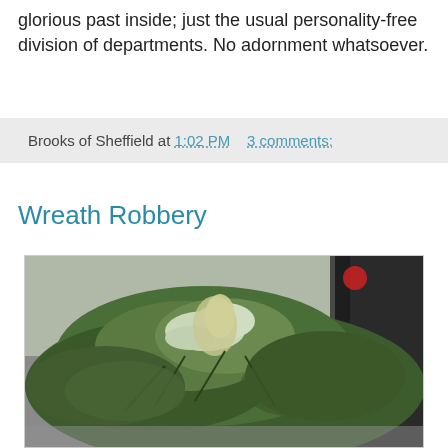glorious past inside; just the usual personality-free division of departments. No adornment whatsoever.
Brooks of Sheffield at 1:02 PM   3 comments:
Wreath Robbery
[Figure (photo): A photograph of discarded evergreen/fir branches and foliage piled on the ground next to a black bin bag, resembling remnants of Christmas wreaths or trees.]